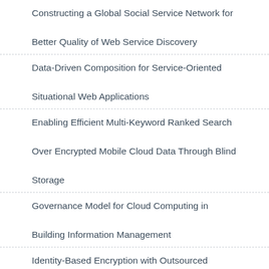Constructing a Global Social Service Network for Better Quality of Web Service Discovery
Data-Driven Composition for Service-Oriented Situational Web Applications
Enabling Efficient Multi-Keyword Ranked Search Over Encrypted Mobile Cloud Data Through Blind Storage
Governance Model for Cloud Computing in Building Information Management
Identity-Based Encryption with Outsourced Revocation in Cloud Computing